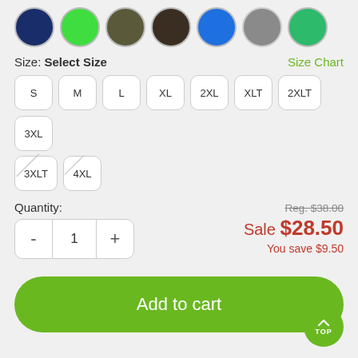[Figure (other): Color swatches row: navy, lime green, olive, dark brown, blue, gray, green circles]
Size: Select Size
Size Chart
S
M
L
XL
2XL
XLT
2XLT
3XL
3XLT (out of stock)
4XL (out of stock)
Quantity:
Reg. $38.00
Sale $28.50
You save $9.50
Add to cart
Other Styles
Men's T-Shirts
Women's T-Shirts